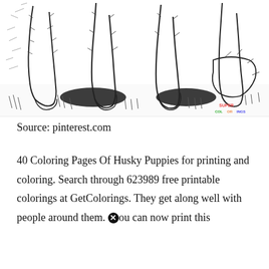[Figure (illustration): Black and white line drawing / coloring page illustration showing the legs and paws of husky puppies standing in grass. Ink sketch style. Super Coloring watermark visible in bottom right corner.]
Source: pinterest.com
40 Coloring Pages Of Husky Puppies for printing and coloring. Search through 623989 free printable colorings at GetColorings. They get along well with people around them. ⓧou can now print this